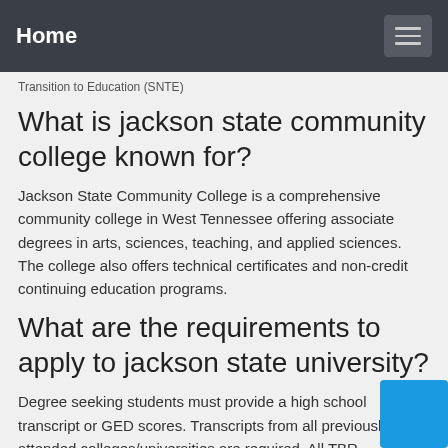Home
Transition to Education (SNTE)
What is jackson state community college known for?
Jackson State Community College is a comprehensive community college in West Tennessee offering associate degrees in arts, sciences, teaching, and applied sciences. The college also offers technical certificates and non-credit continuing education programs.
What are the requirements to apply to jackson state university?
Degree seeking students must provide a high school transcript or GED scores. Transcripts from all previously attended colleges/universities are required. All TBR placement or ACT testing requirements also must be met